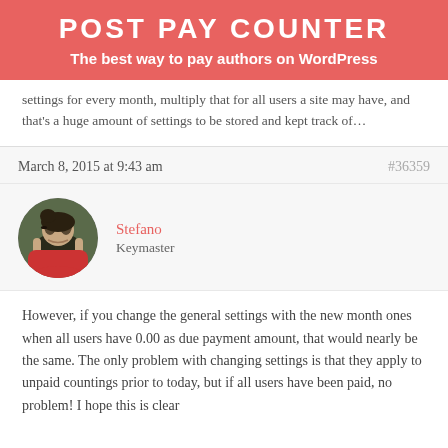POST PAY COUNTER
The best way to pay authors on WordPress
settings for every month, multiply that for all users a site may have, and that's a huge amount of settings to be stored and kept track of…
March 8, 2015 at 9:43 am
#36359
Stefano
Keymaster
However, if you change the general settings with the new month ones when all users have 0.00 as due payment amount, that would nearly be the same. The only problem with changing settings is that they apply to unpaid countings prior to today, but if all users have been paid, no problem! I hope this is clear